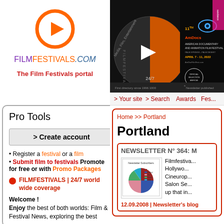[Figure (logo): FilmFestivals.com circular play button logo icon in orange]
FILMFESTIVALS.COM
The Film Festivals portal
[Figure (screenshot): AmDocs 11th American Documentary and Animation Film Festival banner advertisement with Film Festivals 24/7 logo]
> Your site  > Search   Awards  Fes
Pro Tools
> Create account
Register a festival or a film
Submit film to festivals Promote for free or with Promo Packages
FILMFESTIVALS | 24/7 world wide coverage
Welcome !
Enjoy the best of both worlds: Film & Festival News, exploring the best
Home >> Portland
Portland
NEWSLETTER N° 364: M
[Figure (pie-chart): Newsletter Subscribers pie chart thumbnail showing multi-colored pie slices with legend]
Filmfestiva... Hollywo... Cineurop... Salon Se... up that in...
12.09.2008 | Newsletter's blog